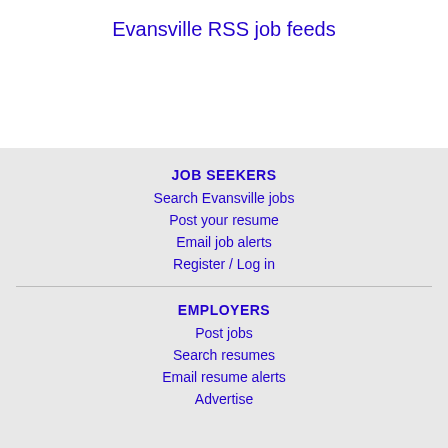Evansville RSS job feeds
JOB SEEKERS
Search Evansville jobs
Post your resume
Email job alerts
Register / Log in
EMPLOYERS
Post jobs
Search resumes
Email resume alerts
Advertise